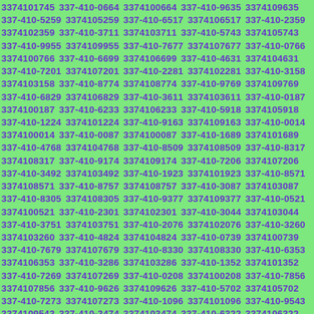3374101745 337-410-0664 3374100664 337-410-9635 3374109635 337-410-5259 3374105259 337-410-6517 3374106517 337-410-2359 3374102359 337-410-3711 3374103711 337-410-5743 3374105743 337-410-9955 3374109955 337-410-7677 3374107677 337-410-0766 3374100766 337-410-6699 3374106699 337-410-4631 3374104631 337-410-7201 3374107201 337-410-2281 3374102281 337-410-3158 3374103158 337-410-8774 3374108774 337-410-9769 3374109769 337-410-6829 3374106829 337-410-3611 3374103611 337-410-0187 3374100187 337-410-6233 3374106233 337-410-5918 3374105918 337-410-1224 3374101224 337-410-9163 3374109163 337-410-0014 3374100014 337-410-0087 3374100087 337-410-1689 3374101689 337-410-4768 3374104768 337-410-8509 3374108509 337-410-8317 3374108317 337-410-9174 3374109174 337-410-7206 3374107206 337-410-3492 3374103492 337-410-1923 3374101923 337-410-8571 3374108571 337-410-8757 3374108757 337-410-3087 3374103087 337-410-8305 3374108305 337-410-9377 3374109377 337-410-0521 3374100521 337-410-2301 3374102301 337-410-3044 3374103044 337-410-3751 3374103751 337-410-2076 3374102076 337-410-3260 3374103260 337-410-4824 3374104824 337-410-0739 3374100739 337-410-7679 3374107679 337-410-8330 3374108330 337-410-6353 3374106353 337-410-3286 3374103286 337-410-1352 3374101352 337-410-7269 3374107269 337-410-0208 3374100208 337-410-7856 3374107856 337-410-9626 3374109626 337-410-5702 3374105702 337-410-7273 3374107273 337-410-1096 3374101096 337-410-9543 3374109543 337-410-3474 3374103474 337-410-6322 3374106322